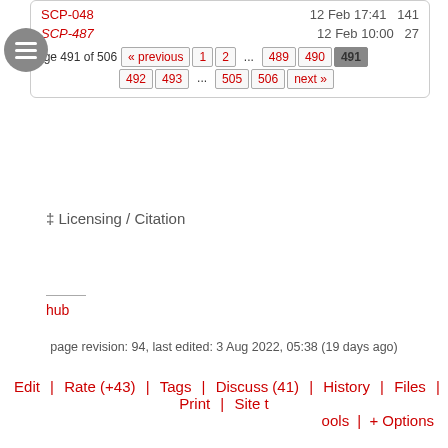SCP-048   12 Feb 17:41   141
SCP-487   12 Feb 10:00   27
Page 491 of 506  « previous  1  2  ...  489  490  491  492  493  ...  505  506  next »
‡ Licensing / Citation
hub
page revision: 94, last edited: 3 Aug 2022, 05:38 (19 days ago)
Edit  Rate (+43)  Tags  Discuss (41)  History  Files  Print  Site tools  + Options